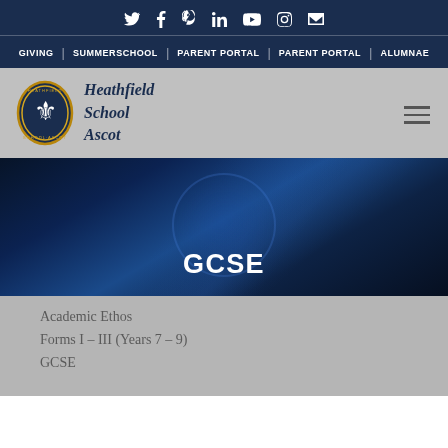Social icons: Twitter, Facebook, Pinterest, LinkedIn, YouTube, Instagram, Email
GIVING | SUMMERSCHOOL | PARENT PORTAL | PARENT PORTAL | ALUMNAE
[Figure (logo): Heathfield School Ascot crest/shield logo with fleur-de-lis and school name in italic serif font]
GCSE
Academic Ethos
Forms I – III (Years 7 – 9)
GCSE